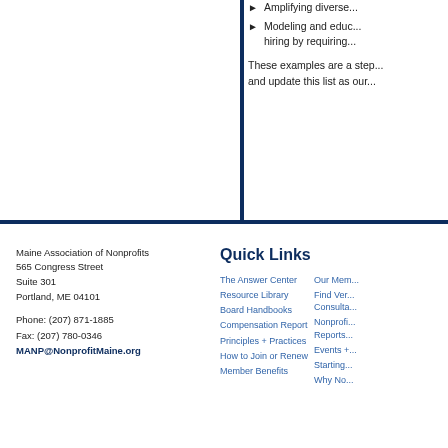Amplifying diverse...
Modeling and educ... hiring by requiring...
These examples are a step... and update this list as our...
Maine Association of Nonprofits
565 Congress Street
Suite 301
Portland, ME 04101

Phone: (207) 871-1885
Fax: (207) 780-0346
MANP@NonprofitMaine.org
Quick Links
The Answer Center
Resource Library
Board Handbooks
Compensation Report
Principles + Practices
How to Join or Renew
Member Benefits
Our Mem...
Find Ver... Consulta...
Nonprofi... Reports...
Events +...
Starting...
Why No...